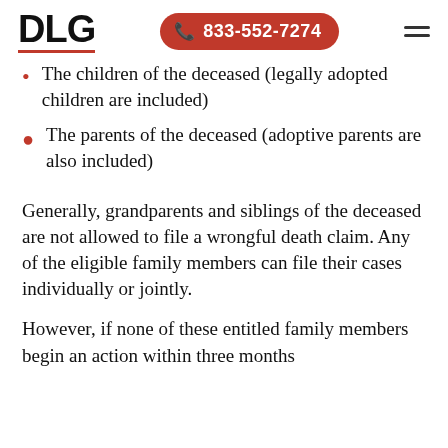DLG | 833-552-7274
The children of the deceased (legally adopted children are included)
The parents of the deceased (adoptive parents are also included)
Generally, grandparents and siblings of the deceased are not allowed to file a wrongful death claim. Any of the eligible family members can file their cases individually or jointly.
However, if none of these entitled family members begin an action within three months